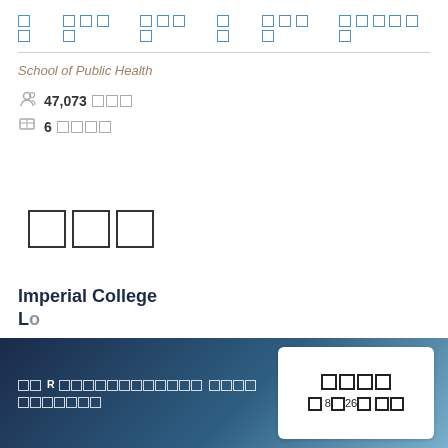□□  □□□□  □□□□  □□  □□□□  □□□□□□□
School of Public Health
47,073 □□□
6 □□□□
□□□
Imperial College London
□□ R □□□□□□□□□□□□□ □□□□ □□□□□□□
□□□□ □ 8□26□ □□